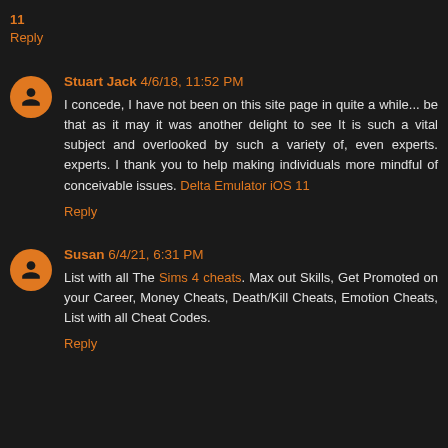11
Reply
Stuart Jack 4/6/18, 11:52 PM
I concede, I have not been on this site page in quite a while... be that as it may it was another delight to see It is such a vital subject and overlooked by such a variety of, even experts. experts. I thank you to help making individuals more mindful of conceivable issues. Delta Emulator iOS 11
Reply
Susan 6/4/21, 6:31 PM
List with all The Sims 4 cheats. Max out Skills, Get Promoted on your Career, Money Cheats, Death/Kill Cheats, Emotion Cheats, List with all Cheat Codes.
Reply